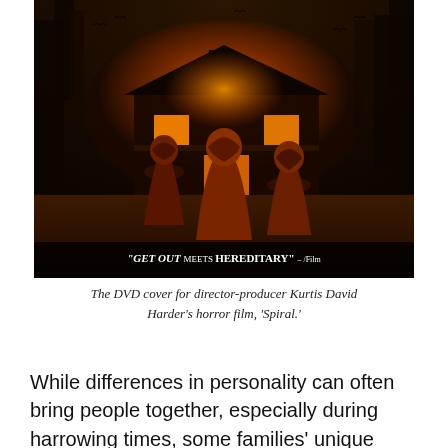[Figure (photo): DVD cover for the horror film 'Spiral' showing three cloaked figures standing with their backs to the viewer, facing an ominous glowing red house at night with dark trees. Text at bottom reads: "GET OUT MEETS HEREDITARY" – /Film]
The DVD cover for director-producer Kurtis David Harder's horror film, 'Spiral.'
While differences in personality can often bring people together, especially during harrowing times, some families' unique characteristics are just so different that they can instead pose